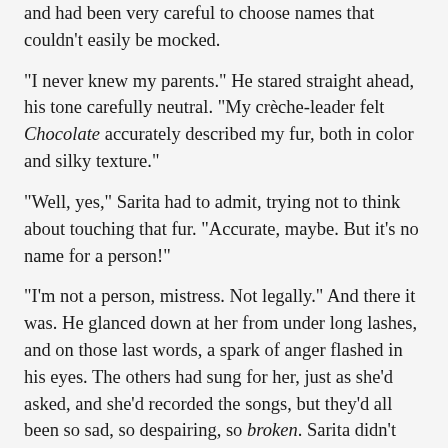and had been very careful to choose names that couldn't easily be mocked.
"I never knew my parents." He stared straight ahead, his tone carefully neutral.  "My crèche-leader felt Chocolate accurately described my fur, both in color and silky texture."
"Well, yes," Sarita had to admit, trying not to think about touching that fur.  "Accurate, maybe.  But it's no name for a person!"
"I'm not a person, mistress.  Not legally."  And there it was.  He glanced down at her from under long lashes, and on those last words, a spark of anger flashed in his eyes.  The others had sung for her, just as she'd asked, and she'd recorded the songs, but they'd all been so sad, so despairing, so broken. Sarita didn't know whether this one could even sing, but one thing was clear — despite his circumstances, he wasn't broken yet.  She felt her interest stirring.